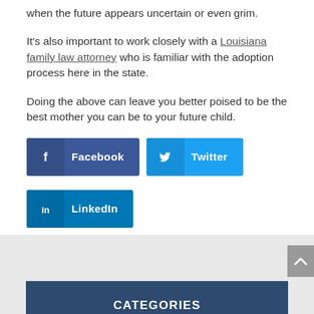when the future appears uncertain or even grim.
It's also important to work closely with a Louisiana family law attorney who is familiar with the adoption process here in the state.
Doing the above can leave you better poised to be the best mother you can be to your future child.
[Figure (infographic): Social sharing buttons: Facebook (dark blue), Twitter (blue), LinkedIn (dark blue)]
CATEGORIES